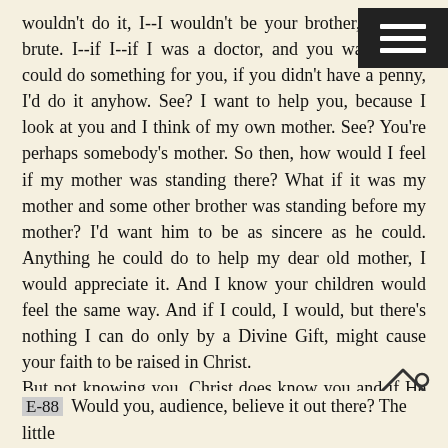wouldn't do it, I--I wouldn't be your brother, I'd be a brute. I--if I--if I was a doctor, and you was sick, I could do something for you, if you didn't have a penny, I'd do it anyhow. See? I want to help you, because I look at you and I think of my own mother. See? You're perhaps somebody's mother. So then, how would I feel if my mother was standing there? What if it was my mother and some other brother was standing before my mother? I'd want him to be as sincere as he could. Anything he could do to help my dear old mother, I would appreciate it. And I know your children would feel the same way. And if I could, I would, but there's nothing I can do only by a Divine Gift, might cause your faith to be raised in Christ.
But not knowing you, Christ does know you and if He will reveal to me what's on your heart for me to--to ask me, or for me to do for you, would you accept it?
[Figure (illustration): Small house/home icon outline in bottom right area]
E-88 Would you, audience, believe it out there? The little